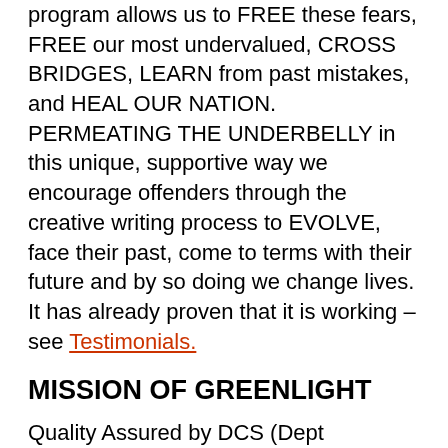program allows us to FREE these fears, FREE our most undervalued, CROSS BRIDGES, LEARN from past mistakes, and HEAL OUR NATION. PERMEATING THE UNDERBELLY in this unique, supportive way we encourage offenders through the creative writing process to EVOLVE, face their past, come to terms with their future and by so doing we change lives. It has already proven that it is working – see Testimonials.
MISSION OF GREENLIGHT
Quality Assured by DCS (Dept Correctional Services)
To EMPOWER OFFENDERS to RAISE THEIR CONSCIOUSNESS while incarcerated.